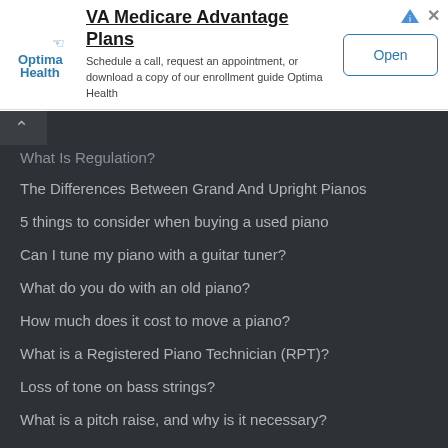[Figure (other): Optima Health advertisement banner for VA Medicare Advantage Plans with logo, description text, and Open button]
What Is Regulation?
The Differences Between Grand And Upright Pianos
5 things to consider when buying a used piano
Can I tune my piano with a guitar tuner?
What do you do with an old piano?
How much does it cost to move a piano?
What is a Registered Piano Technician (RPT)?
Loss of tone on bass strings?
What is a pitch raise, and why is it necessary?
BLOG TAGS